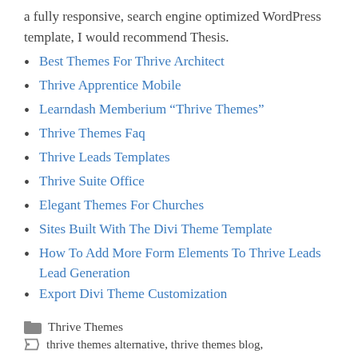a fully responsive, search engine optimized WordPress template, I would recommend Thesis.
Best Themes For Thrive Architect
Thrive Apprentice Mobile
Learndash Memberium “Thrive Themes”
Thrive Themes Faq
Thrive Leads Templates
Thrive Suite Office
Elegant Themes For Churches
Sites Built With The Divi Theme Template
How To Add More Form Elements To Thrive Leads Lead Generation
Export Divi Theme Customization
Thrive Themes
thrive themes alternative, thrive themes blog,